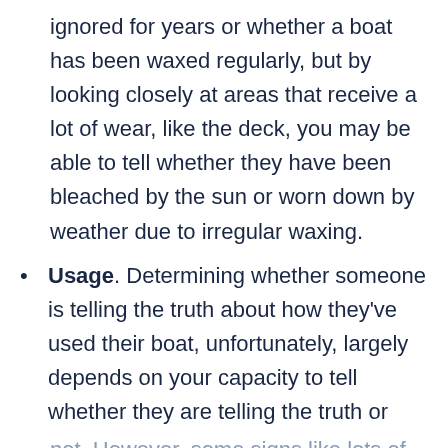ignored for years or whether a boat has been waxed regularly, but by looking closely at areas that receive a lot of wear, like the deck, you may be able to tell whether they have been bleached by the sun or worn down by weather due to irregular waxing.
Usage. Determining whether someone is telling the truth about how they've used their boat, unfortunately, largely depends on your capacity to tell whether they are telling the truth or
not. However, some signs like lots of